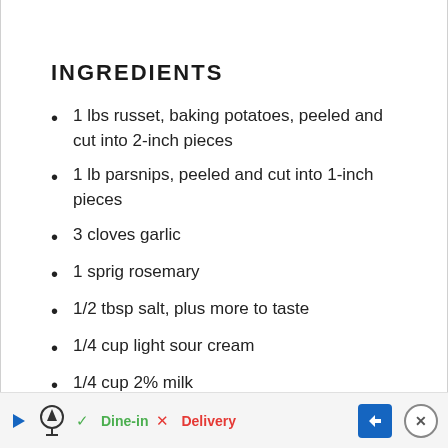INGREDIENTS
1 lbs russet, baking potatoes, peeled and cut into 2-inch pieces
1 lb parsnips, peeled and cut into 1-inch pieces
3 cloves garlic
1 sprig rosemary
1/2 tbsp salt, plus more to taste
1/4 cup light sour cream
1/4 cup 2% milk
1 tbsp unsalted butter
pinch of black pepper
Dine-in  Delivery  [Ad: TopGolf]